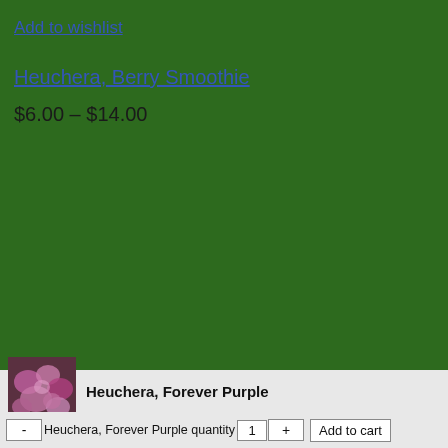Add to wishlist
Heuchera, Berry Smoothie
$6.00 – $14.00
[Figure (photo): Small thumbnail photo of Heuchera Forever Purple plant with pink-purple foliage]
Heuchera, Forever Purple
- Heuchera, Forever Purple quantity 1 + Add to cart